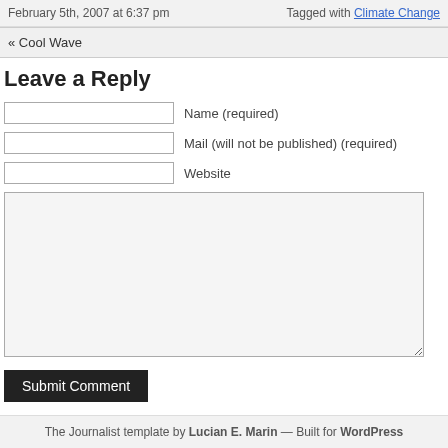February 5th, 2007 at 6:37 pm | Tagged with Climate Change
« Cool Wave
Leave a Reply
Name (required)
Mail (will not be published) (required)
Website
Submit Comment
The Journalist template by Lucian E. Marin — Built for WordPress